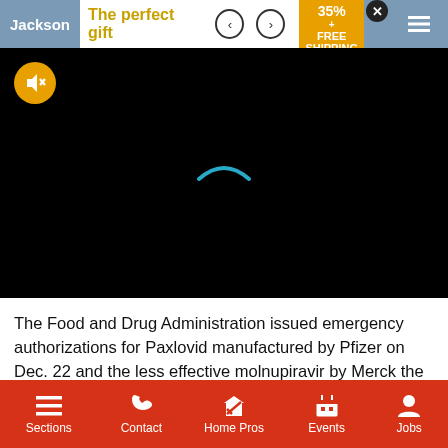Jackson | The perfect gift | 35% + FREE SHIPPING
[Figure (screenshot): Black video player area with a yellow mute button in top-left corner and a cyan loading arc/spinner in the center, indicating a paused or loading video.]
The Food and Drug Administration issued emergency authorizations for Paxlovid manufactured by Pfizer on Dec. 22 and the less effective molnupiravir by Merck the following day.
Paxlovid is available for people aged 12 and older who have the
Sections | Contact | Home Pros | Events | Jobs